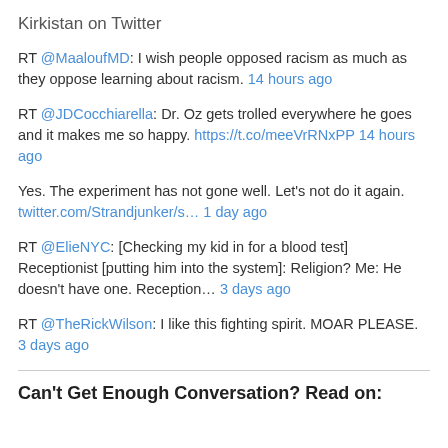Kirkistan on Twitter
RT @MaaloufMD: I wish people opposed racism as much as they oppose learning about racism. 14 hours ago
RT @JDCocchiarella: Dr. Oz gets trolled everywhere he goes and it makes me so happy. https://t.co/meeVrRNxPP 14 hours ago
Yes. The experiment has not gone well. Let's not do it again. twitter.com/Strandjunker/s… 1 day ago
RT @ElieNYC: [Checking my kid in for a blood test] Receptionist [putting him into the system]: Religion? Me: He doesn't have one. Reception… 3 days ago
RT @TheRickWilson: I like this fighting spirit. MOAR PLEASE. 3 days ago
Can't Get Enough Conversation? Read on: